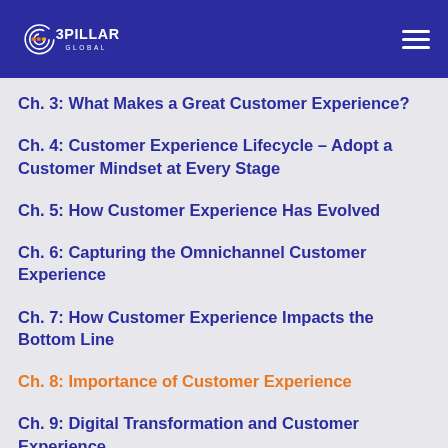3PILLAR GLOBAL
Ch. 3: What Makes a Great Customer Experience?
Ch. 4: Customer Experience Lifecycle – Adopt a Customer Mindset at Every Stage
Ch. 5: How Customer Experience Has Evolved
Ch. 6: Capturing the Omnichannel Customer Experience
Ch. 7: How Customer Experience Impacts the Bottom Line
Ch. 8: Importance of Customer Experience
Ch. 9: Digital Transformation and Customer Experience
Ch. 10: Owning the End-to-End Customer Experience